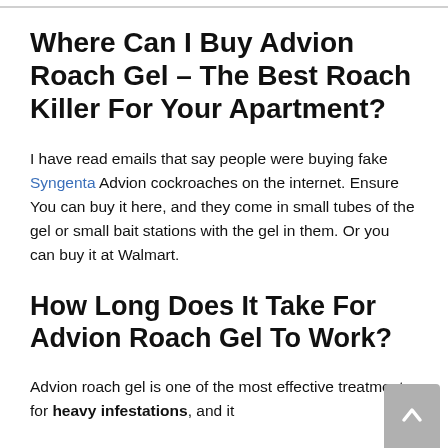Where Can I Buy Advion Roach Gel – The Best Roach Killer For Your Apartment?
I have read emails that say people were buying fake Syngenta Advion cockroaches on the internet. Ensure You can buy it here, and they come in small tubes of the gel or small bait stations with the gel in them. Or you can buy it at Walmart.
How Long Does It Take For Advion Roach Gel To Work?
Advion roach gel is one of the most effective treatments for heavy infestations, and it